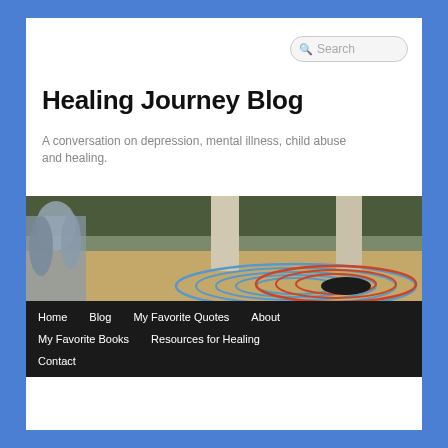Healing Journey Blog
A conversation on depression, mental illness, child abuse and healing.
[Figure (photo): Outdoor photo of a colorful labyrinth painted on ground with blue and red lines, with large concrete pillars and shrubbery in background, and silver sculptural figures on the left side.]
Home
Blog
My Favorite Quotes
About
My Favorite Books
Resources for Healing
Contact